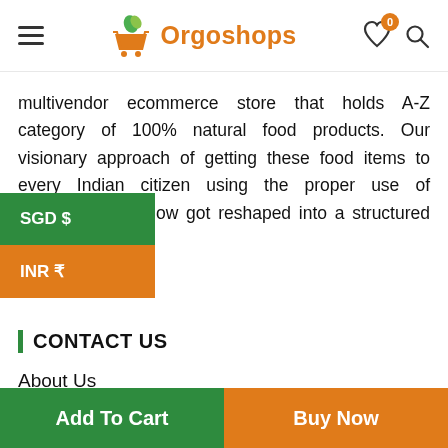Orgoshops
multivendor ecommerce store that holds A-Z category of 100% natural food products. Our visionary approach of getting these food items to every Indian citizen using the proper use of technology has now got reshaped into a structured ecommerce
[Figure (screenshot): Currency selector overlay showing SGD $ in green and INR ₹ in orange]
CONTACT US
About Us
Contact Us
Shop
Help Center
Track My Order
Add To Cart | Buy Now